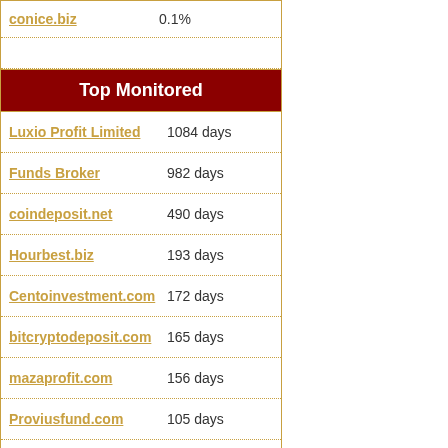conice.biz  0.1%
Top Monitored
Luxio Profit Limited  1084 days
Funds Broker  982 days
coindeposit.net  490 days
Hourbest.biz  193 days
Centoinvestment.com  172 days
bitcryptodeposit.com  165 days
mazaprofit.com  156 days
Proviusfund.com  105 days
cryptomines.biz  97 days
conice.biz  44 days
Last Scams
coyote.deals
investinucentre.com